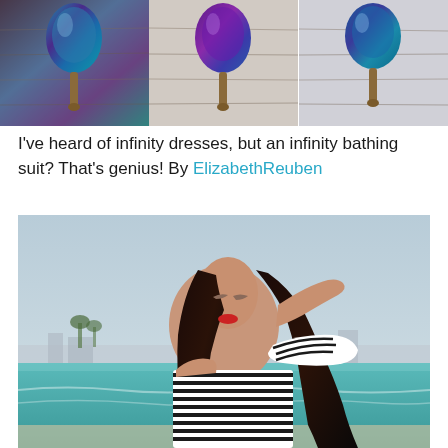[Figure (photo): Three side-by-side photos of an iridescent/holographic bathing suit displayed on a mannequin torso against a wooden background]
I've heard of infinity dresses, but an infinity bathing suit? That's genius! By ElizabethReuben
[Figure (photo): Woman with long dark hair wearing a one-shoulder black and white striped ruffled swimsuit, posing on a beach with turquoise water in background]